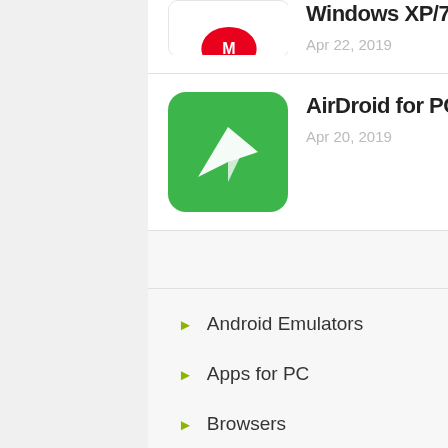Windows XP/7/8/8.1/10 and Mac PC
Apr 22, 2019
[Figure (illustration): AirDroid app green icon with white paper plane]
AirDroid for PC Windows XP/7/8/8.1/10 and Mac PC
Apr 20, 2019
Categories
Android Emulators
Apps for PC
Browsers